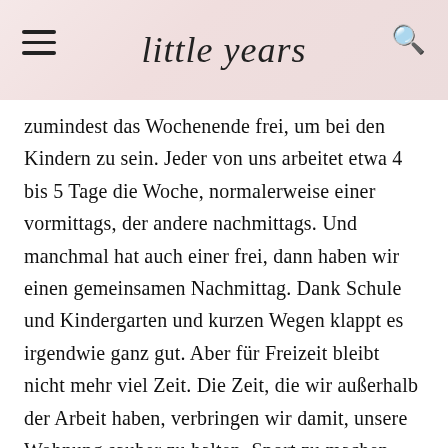little years
zumindest das Wochenende frei, um bei den Kindern zu sein. Jeder von uns arbeitet etwa 4 bis 5 Tage die Woche, normalerweise einer vormittags, der andere nachmittags. Und manchmal hat auch einer frei, dann haben wir einen gemeinsamen Nachmittag. Dank Schule und Kindergarten und kurzen Wegen klappt es irgendwie ganz gut. Aber für Freizeit bleibt nicht mehr viel Zeit. Die Zeit, die wir außerhalb der Arbeit haben, verbringen wir damit, unsere Wohnung sauber zu halten, Sport zu machen oder zu zweit abzuhängen. Für diese Paarzeit hätte ich gerne mehr Zeit, aber wir haben kaum Hilfe. Unsere Eltern sind in Italien, sie kommen